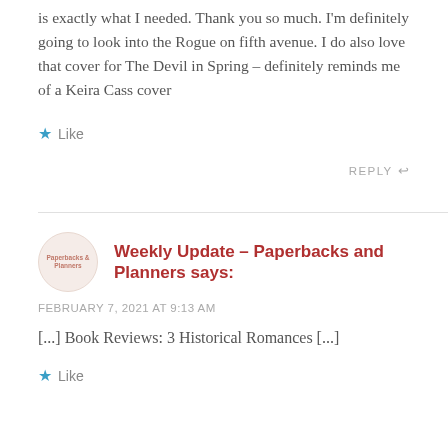is exactly what I needed. Thank you so much. I'm definitely going to look into the Rogue on fifth avenue. I do also love that cover for The Devil in Spring – definitely reminds me of a Keira Cass cover
Like
REPLY
Weekly Update – Paperbacks and Planners says:
FEBRUARY 7, 2021 AT 9:13 AM
[...] Book Reviews: 3 Historical Romances [...]
Like